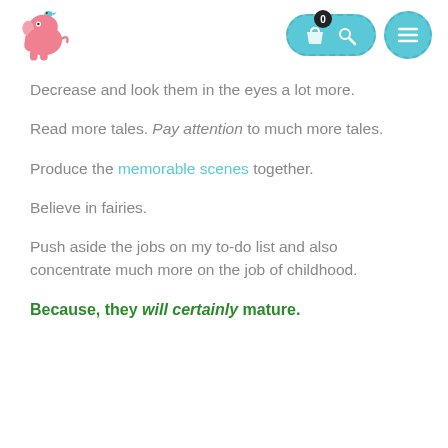[Figure (logo): Pink cartoon elephant logo with small blue bird on top]
[Figure (illustration): Navigation bar with teal pill-shaped button containing shopping bag icon with badge '0' and key/search icon, plus a teal circle button with hamburger menu lines]
Decrease and look them in the eyes a lot more.
Read more tales. Pay attention to much more tales.
Produce the memorable scenes together.
Believe in fairies.
Push aside the jobs on my to-do list and also concentrate much more on the job of childhood.
Because, they will certainly mature.